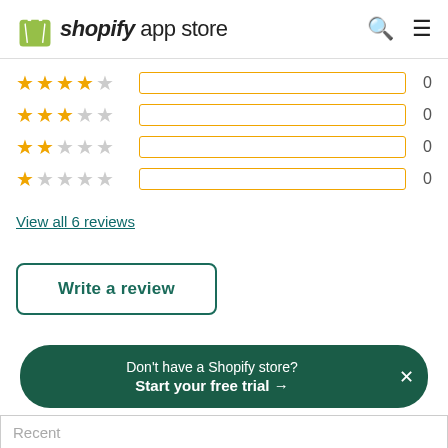shopify app store
[Figure (infographic): Rating distribution bars showing 4-star, 3-star, 2-star, and 1-star ratings, all with 0 counts and empty orange-bordered progress bars]
View all 6 reviews
Write a review
Don't have a Shopify store? Start your free trial →
Recent